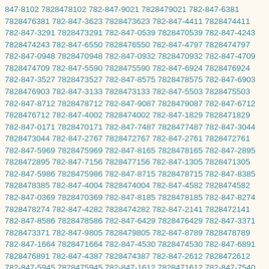847-8102 7828478102 782-847-9021 7828479021 782-847-6381 7828476381 782-847-3623 7828473623 782-847-4411 7828474411 782-847-3291 7828473291 782-847-0539 7828470539 782-847-4243 7828474243 782-847-6550 7828476550 782-847-4797 7828474797 782-847-0948 7828470948 782-847-0932 7828470932 782-847-4709 7828474709 782-847-5590 7828475590 782-847-6924 7828476924 782-847-3527 7828473527 782-847-8575 7828478575 782-847-6903 7828476903 782-847-3133 7828473133 782-847-5503 7828475503 782-847-8712 7828478712 782-847-9087 7828479087 782-847-6712 7828476712 782-847-4002 7828474002 782-847-1829 7828471829 782-847-0171 7828470171 782-847-7487 7828477487 782-847-3044 7828473044 782-847-2767 7828472767 782-847-2761 7828472761 782-847-5969 7828475969 782-847-8165 7828478165 782-847-2895 7828472895 782-847-7156 7828477156 782-847-1305 7828471305 782-847-5986 7828475986 782-847-8715 7828478715 782-847-8385 7828478385 782-847-4004 7828474004 782-847-4582 7828474582 782-847-0369 7828470369 782-847-8185 7828478185 782-847-8274 7828478274 782-847-4282 7828474282 782-847-2141 7828472141 782-847-8586 7828478586 782-847-6429 7828476429 782-847-3371 7828473371 782-847-9805 7828479805 782-847-8789 7828478789 782-847-1664 7828471664 782-847-4530 7828474530 782-847-6891 7828476891 782-847-4387 7828474387 782-847-2612 7828472612 782-847-5945 7828475945 782-847-1612 7828471612 782-847-7540 7828477540 782-847-1874 7828471874 782-847-5328 7828475328 782-847-7046 7828477046 782-847-2623 7828472623 782-847-8098 7828478098 782-847-7486 7828477486 782-847-5174 7828475174 782-847-0543 7828470543 782-847-3919 7828473919 782-847-8057